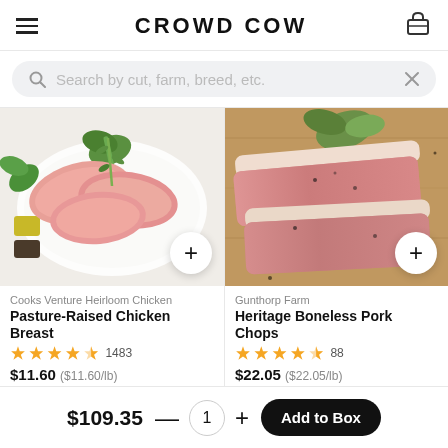CROWD COW
Search by cut, farm, breed, etc.
[Figure (photo): Raw chicken breasts on a white plate with fresh herbs, olive oil, and black pepper]
Cooks Venture Heirloom Chicken
Pasture-Raised Chicken Breast
4.5 stars 1483
$11.60 ($11.60/lb)
[Figure (photo): Two raw heritage boneless pork chops on a wooden cutting board with sage and black pepper]
Gunthorp Farm
Heritage Boneless Pork Chops
4.5 stars 88
$22.05 ($22.05/lb)
$109.35 — 1 + Add to Box